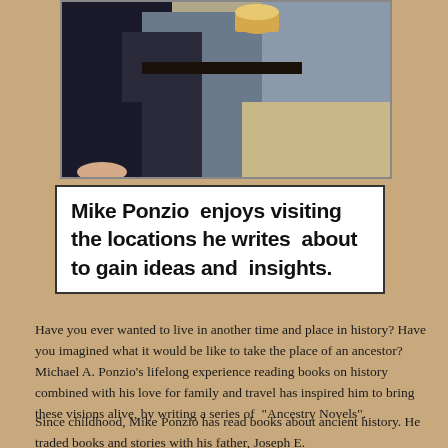[Figure (photo): Close-up photo of a person outdoors, wearing a dark jacket and grey top, holding what appears to be a cup, with sandy/rocky ground in the background.]
Mike Ponzio  enjoys visiting the locations he writes about to gain ideas and  insights.
Have you ever wanted to live in another time and place in history? Have you imagined what it would be like to take the place of an ancestor? Michael A. Ponzio's lifelong experience reading books on history combined with his love for family and travel has inspired him to bring these visions alive, by writing a series of  "Ancestry Novels".
Since childhood, Mike Ponzio has read books about ancient history. He traded books and stories with his father, Joseph E.